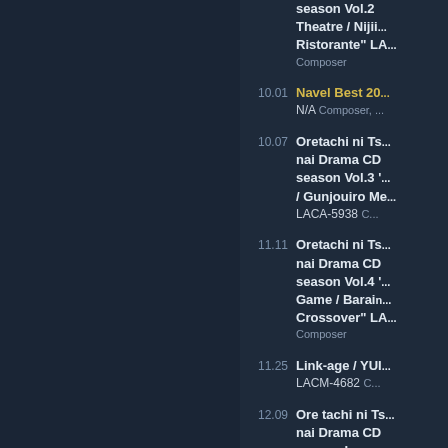season Vol.2 Theatre / Nijii... Ristorante" LA... Composer
10.01 Navel Best 20... N/A Composer, ...
10.07 Oretachi ni Ts... nai Drama CD season Vol.3 / Gunjouiro Me... LACA-5938 C...
11.11 Oretachi ni Ts... nai Drama CD season Vol.4 Game / Barain... Crossover" LA... Composer
11.25 Link-age / YUI... LACM-4682 C...
12.09 Ore tachi ni Ts... nai Drama CD season Image Album LACA-... Composer
2010
01.27 from now on / ... misoto LUCA-...